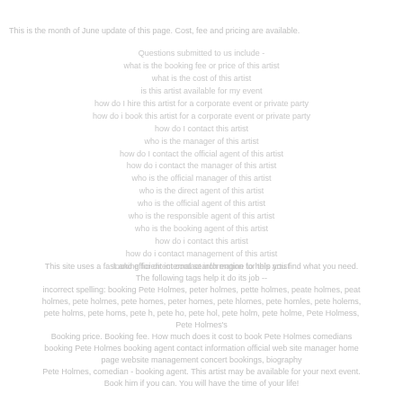This is the month of June update of this page. Cost, fee and pricing are available.
Questions submitted to us include -
what is the booking fee or price of this artist
what is the cost of this artist
is this artist available for my event
how do I hire this artist for a corporate event or private party
how do i book this artist for a corporate event or private party
how do I contact this artist
who is the manager of this artist
how do I contact the official agent of this artist
how do i contact the manager of this artist
who is the official manager of this artist
who is the direct agent of this artist
who is the official agent of this artist
who is the responsible agent of this artist
who is the booking agent of this artist
how do i contact this artist
how do i contact management of this artist
looking for direct contact information for this artist
This site uses a fast and efficient internal search engine to help you find what you need. The following tags help it do its job --
incorrect spelling: booking Pete Holmes, peter holmes, pette holmes, peate holmes, peat holmes, pete holmes, pete homes, peter homes, pete hlomes, pete homles, pete holems, pete holms, pete homs, pete h, pete ho, pete hol, pete holm, pete holme, Pete Holmess, Pete Holmes's
Booking price. Booking fee. How much does it cost to book Pete Holmes comedians booking Pete Holmes booking agent contact information official web site manager home page website management concert bookings, biography
Pete Holmes, comedian - booking agent. This artist may be available for your next event. Book him if you can. You will have the time of your life!